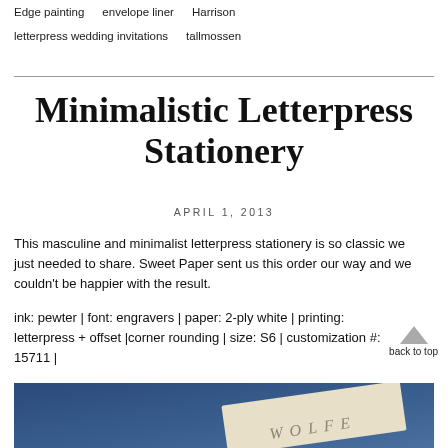Edge painting   envelope liner   Harrison
letterpress wedding invitations   tallmossen
Minimalistic Letterpress Stationery
APRIL 1, 2013
This masculine and minimalist letterpress stationery is so classic we just needed to share. Sweet Paper sent us this order our way and we couldn't be happier with the result.
ink: pewter | font: engravers | paper: 2-ply white | printing: letterpress + offset |corner rounding | size: S6 | customization #: 15711 |
[Figure (photo): Close-up photo of letterpress stationery on a blue background, showing the word WOLFE in engraved serif lettering on cream/white thick paper stock]